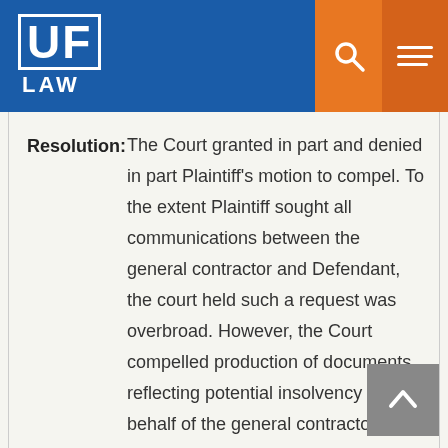[Figure (logo): UF Law logo — white block letters 'UF' with 'LAW' below on blue background, with orange search and menu icons]
Resolution: The Court granted in part and denied in part Plaintiff's motion to compel. To the extent Plaintiff sought all communications between the general contractor and Defendant, the court held such a request was overbroad. However, the Court compelled production of documents reflecting potential insolvency on behalf of the general contractor as